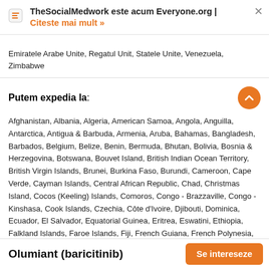TheSocialMedwork este acum Everyone.org | Citeste mai mult »
Emiratele Arabe Unite, Regatul Unit, Statele Unite, Venezuela, Zimbabwe
Putem expedia la:
Afghanistan, Albania, Algeria, American Samoa, Angola, Anguilla, Antarctica, Antigua & Barbuda, Armenia, Aruba, Bahamas, Bangladesh, Barbados, Belgium, Belize, Benin, Bermuda, Bhutan, Bolivia, Bosnia & Herzegovina, Botswana, Bouvet Island, British Indian Ocean Territory, British Virgin Islands, Brunei, Burkina Faso, Burundi, Cameroon, Cape Verde, Cayman Islands, Central African Republic, Chad, Christmas Island, Cocos (Keeling) Islands, Comoros, Congo - Brazzaville, Congo - Kinshasa, Cook Islands, Czechia, Côte d'Ivoire, Djibouti, Dominica, Ecuador, El Salvador, Equatorial Guinea, Eritrea, Eswatini, Ethiopia, Falkland Islands, Faroe Islands, Fiji, French Guiana, French Polynesia, French Southern Territories, Gabon, Gambia, Gibraltar, Greenland, Grenada, Guadeloupe, Guam, Guernsey, Guinea, Guinea-Bissau, Guyana, Haiti, Heard & McDonald Islands, Honduras, Hong Kong SAR China, Hungary, Iceland, Indonesia, Isle of Man, Jersey
Olumiant (baricitinib)   Se intereseze